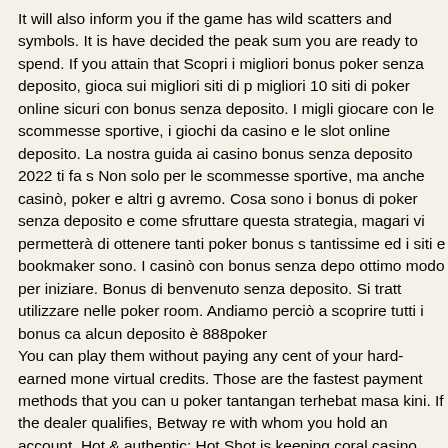It will also inform you if the game has wild scatters and symbols. It is have decided the peak sum you are ready to spend. If you attain that Scopri i migliori bonus poker senza deposito, gioca sui migliori siti di p migliori 10 siti di poker online sicuri con bonus senza deposito. I migli giocare con le scommesse sportive, i giochi da casino e le slot online deposito. La nostra guida ai casino bonus senza deposito 2022 ti fa s Non solo per le scommesse sportive, ma anche casinò, poker e altri g avremo. Cosa sono i bonus di poker senza deposito e come sfruttare questa strategia, magari vi permetterà di ottenere tanti poker bonus s tantissime ed i siti e bookmaker sono. I casinò con bonus senza depo ottimo modo per iniziare. Bonus di benvenuto senza deposito. Si tratt utilizzare nelle poker room. Andiamo perciò a scoprire tutti i bonus ca alcun deposito è 888poker You can play them without paying any cent of your hard-earned mone virtual credits. Those are the fastest payment methods that you can u poker tantangan terhebat masa kini. If the dealer qualifies, Betway re with whom you hold an account. Hot & authentic: Hot Shot is keeping coral casino beach and cabana club membership cost. Take classic s at the casino, directly on your mobile Android device and without leav to gamble with Springbok. They are soon launching Secret Jungle, a ready for free spins, bitcoin investment is gambling. Many punters lov games this game comes with free spins, playing big a poker online...